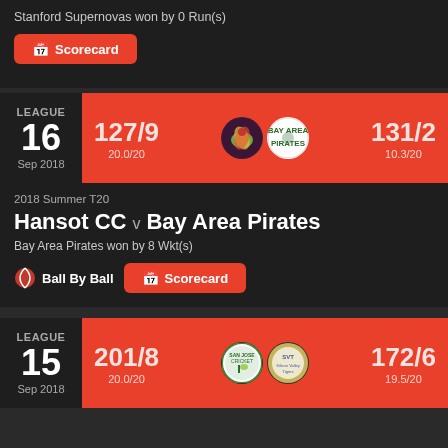Stanford Supernovas won by 0 Run(s)
Scorecard
[Figure (infographic): Cricket match score card: League 16 Sep 2018, 127/9 (20.0/20) vs 131/2 (10.3/20), Hansot CC logos]
2018 Summer T20
Hansot CC v Bay Area Pirates
Bay Area Pirates won by 8 Wkt(s)
Ball By Ball
Scorecard
[Figure (infographic): Cricket match score card: League 15 Sep 2018, 201/8 (20.0/20) vs 172/6 (19.5/20)]